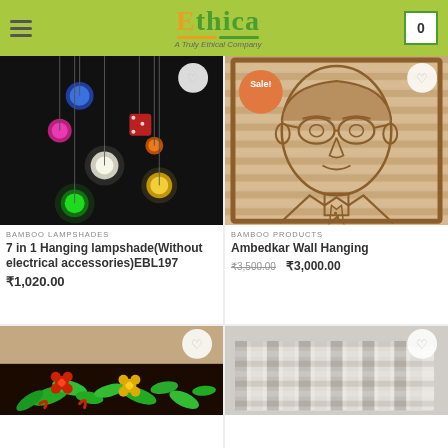Ethica - A Truly Ethical Company
[Figure (photo): Dark background with colorful hanging string lights/lampshade - 7 in 1 Hanging lampshade]
BAMBOO LAMPSHADES
7 in 1 Hanging lampshade(Without electrical accessories)EBL197
₹1,020.00
[Figure (photo): Bamboo wall art carving of Ambedkar portrait on wooden background with Sale badge]
BAMBOO PRODUCTS
Ambedkar Wall Hanging
₹3,500.00  ₹3,000.00
[Figure (photo): Embroidered floral clutch bag with red and yellow flowers on dark background]
[Figure (photo): Bamboo or woven material product - partial view]